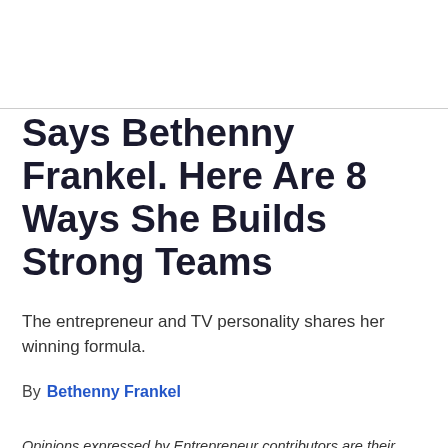Says Bethenny Frankel. Here Are 8 Ways She Builds Strong Teams
The entrepreneur and TV personality shares her winning formula.
By  Bethenny Frankel
Opinions expressed by Entrepreneur contributors are their own.